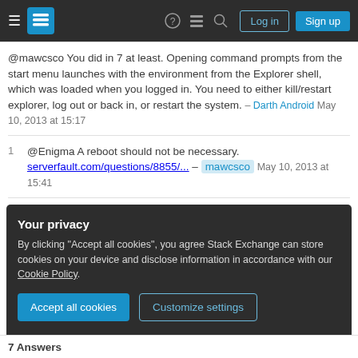Stack Exchange navigation bar with Log in and Sign up buttons
@mawcsco You did in 7 at least. Opening command prompts from the start menu launches with the environment from the Explorer shell, which was loaded when you logged in. You need to either kill/restart explorer, log out or back in, or restart the system. – Darth Android May 10, 2013 at 15:17
@Enigma A reboot should not be necessary. serverfault.com/questions/8855/... – mawcsco May 10, 2013 at 15:41
I've just checked this on both Windows 7 and Windows 8: in either case the new environment variable was
Your privacy
By clicking "Accept all cookies", you agree Stack Exchange can store cookies on your device and disclose information in accordance with our Cookie Policy.
7 Answers